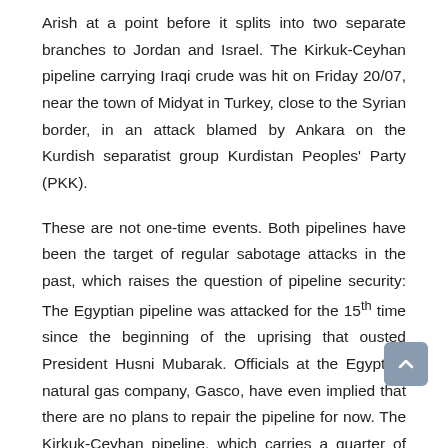Arish at a point before it splits into two separate branches to Jordan and Israel. The Kirkuk-Ceyhan pipeline carrying Iraqi crude was hit on Friday 20/07, near the town of Midyat in Turkey, close to the Syrian border, in an attack blamed by Ankara on the Kurdish separatist group Kurdistan Peoples' Party (PKK).
These are not one-time events. Both pipelines have been the target of regular sabotage attacks in the past, which raises the question of pipeline security: The Egyptian pipeline was attacked for the 15th time since the beginning of the uprising that ousted President Husni Mubarak. Officials at the Egyptian natural gas company, Gasco, have even implied that there are no plans to repair the pipeline for now. The Kirkuk-Ceyhan pipeline, which carries a quarter of Iraq's oil exports, was last attacked, only weeks ago, in June 2012.
In a particularly turbulent region where political claims, from state and non-state actors alike, are permanent and borders constantly